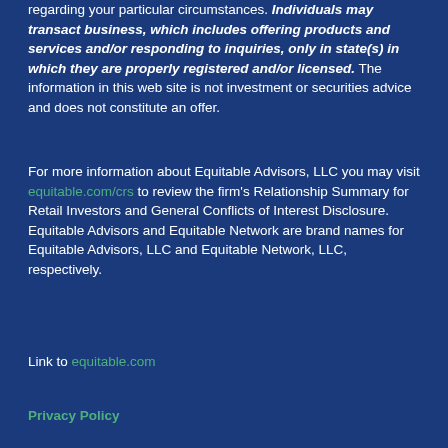regarding your particular circumstances. Individuals may transact business, which includes offering products and services and/or responding to inquiries, only in state(s) in which they are properly registered and/or licensed. The information in this web site is not investment or securities advice and does not constitute an offer.
For more information about Equitable Advisors, LLC you may visit equitable.com/crs to review the firm's Relationship Summary for Retail Investors and General Conflicts of Interest Disclosure. Equitable Advisors and Equitable Network are brand names for Equitable Advisors, LLC and Equitable Network, LLC, respectively.
Link to equitable.com
Privacy Policy